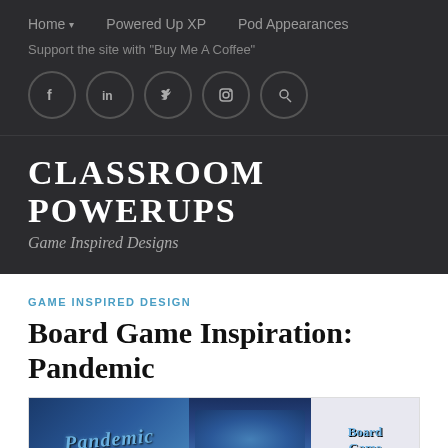Home ▾    Powered Up XP    Pod Appearances
Support the site with "Buy Me A Coffee"
CLASSROOM POWERUPS
Game Inspired Designs
GAME INSPIRED DESIGN
Board Game Inspiration: Pandemic
[Figure (photo): Pandemic board game logo text on left, board game image in center, 'Board Game' badge text on right, on a light background strip]